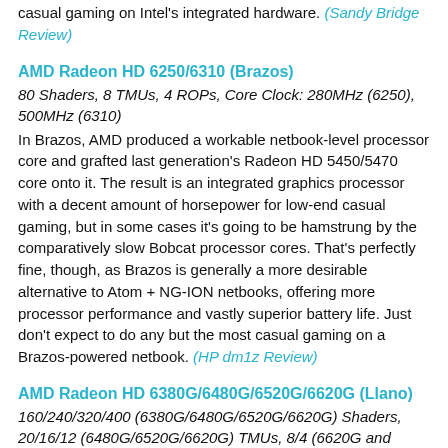casual gaming on Intel's integrated hardware. (Sandy Bridge Review)
AMD Radeon HD 6250/6310 (Brazos)
80 Shaders, 8 TMUs, 4 ROPs, Core Clock: 280MHz (6250), 500MHz (6310)
In Brazos, AMD produced a workable netbook-level processor core and grafted last generation's Radeon HD 5450/5470 core onto it. The result is an integrated graphics processor with a decent amount of horsepower for low-end casual gaming, but in some cases it's going to be hamstrung by the comparatively slow Bobcat processor cores. That's perfectly fine, though, as Brazos is generally a more desirable alternative to Atom + NG-ION netbooks, offering more processor performance and vastly superior battery life. Just don't expect to do any but the most casual gaming on a Brazos-powered netbook. (HP dm1z Review)
AMD Radeon HD 6380G/6480G/6520G/6620G (Llano)
160/240/320/400 (6380G/6480G/6520G/6620G) Shaders, 20/16/12 (6480G/6520G/6620G) TMUs, 8/4 (6620G and 6520G/6480G) ROPs, Core Clock: 400-444MHz
Llano isn't out anywhere near in force yet, but we have a good idea of how the 6620G performs and expect the IGP performance to